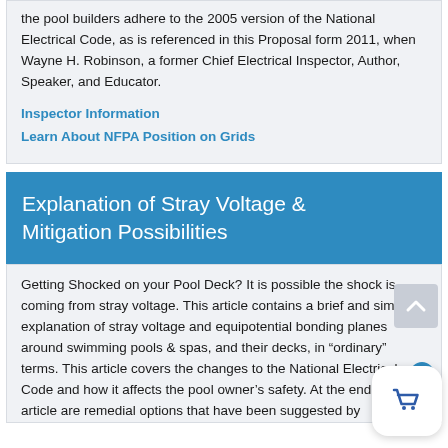the pool builders adhere to the 2005 version of the National Electrical Code, as is referenced in this Proposal form 2011, when Wayne H. Robinson, a former Chief Electrical Inspector, Author, Speaker, and Educator.
Inspector Information
Learn About NFPA Position on Grids
Explanation of Stray Voltage & Mitigation Possibilities
Getting Shocked on your Pool Deck? It is possible the shock is coming from stray voltage. This article contains a brief and simple explanation of stray voltage and equipotential bonding planes around swimming pools & spas, and their decks, in “ordinary” terms. This article covers the changes to the National Electrical Code and how it affects the pool owner’s safety. At the end of the article are remedial options that have been suggested by